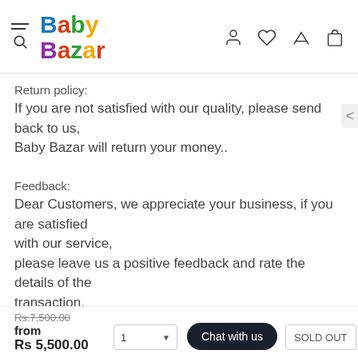Baby Bazar — navigation header with logo and icons
Return policy:
If you are not satisfied with our quality, please send back to us, Baby Bazar will return your money..
Feedback:
Dear Customers, we appreciate your business, if you are satisfied with our service, please leave us a positive feedback and rate the details of the transaction. Your recognition will make us more confident to develop business and will encourage us more to serve you ev...
Rs.7,500.00
from
Rs 5,500.00
Chat with us
SOLD OUT